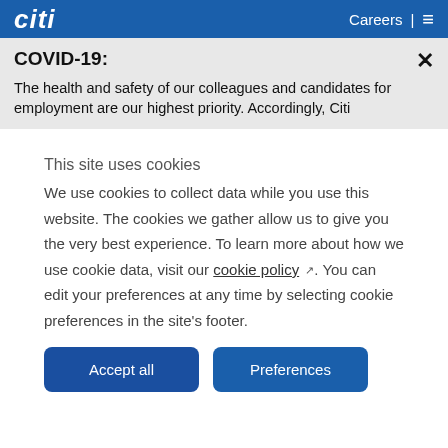Citi    Careers |  ≡
COVID-19:
The health and safety of our colleagues and candidates for employment are our highest priority. Accordingly, Citi
This site uses cookies
We use cookies to collect data while you use this website. The cookies we gather allow us to give you the very best experience. To learn more about how we use cookie data, visit our cookie policy ↗. You can edit your preferences at any time by selecting cookie preferences in the site's footer.
Accept all    Preferences